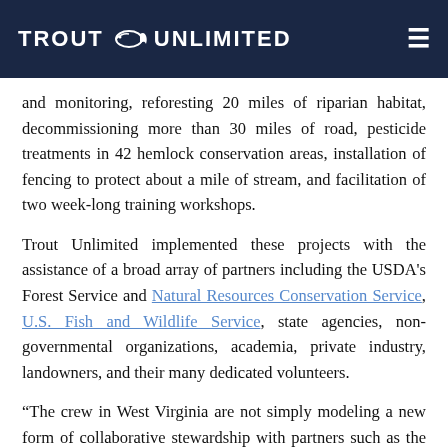TROUT UNLIMITED
and monitoring, reforesting 20 miles of riparian habitat, decommissioning more than 30 miles of road, pesticide treatments in 42 hemlock conservation areas, installation of fencing to protect about a mile of stream, and facilitation of two week-long training workshops.
Trout Unlimited implemented these projects with the assistance of a broad array of partners including the USDA's Forest Service and Natural Resources Conservation Service, U.S. Fish and Wildlife Service, state agencies, non-governmental organizations, academia, private industry, landowners, and their many dedicated volunteers.
“The crew in West Virginia are not simply modeling a new form of collaborative stewardship with partners such as the Forest Service, the Fish and Wildlife Service, and the NRCS”